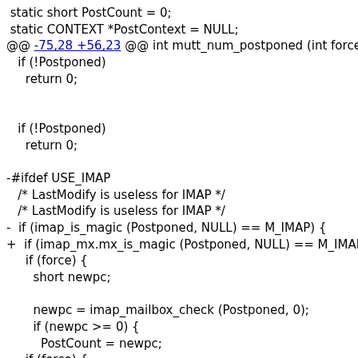Code diff showing changes to a C source file, including static variable declarations, a diff hunk header, and modified code blocks related to IMAP functionality and postponed message handling.